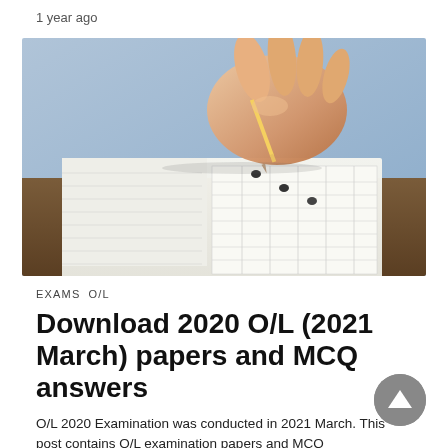1 year ago
[Figure (photo): Close-up photo of a hand holding a pencil over an exam/MCQ answer sheet on a wooden desk]
EXAMS   O/L
Download 2020 O/L (2021 March) papers and MCQ answers
O/L 2020 Examination was conducted in 2021 March. This post contains O/L examination papers and MCQ